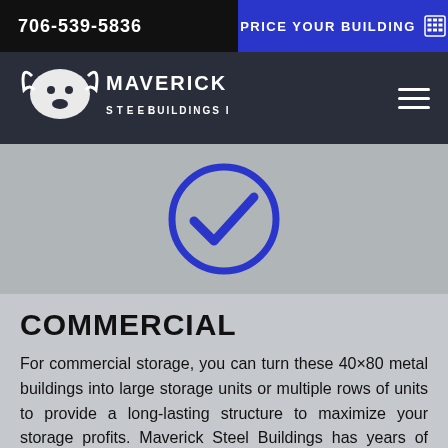706-539-5836   PRICE YOUR BUILDING
[Figure (logo): Maverick Steel Buildings Inc. logo with bull skull graphic on dark navy background, hamburger menu icon on right]
[Figure (illustration): Large blue circle with blue checkmark icon on gray background]
COMMERCIAL
For commercial storage, you can turn these 40×80 metal buildings into large storage units or multiple rows of units to provide a long-lasting structure to maximize your storage profits. Maverick Steel Buildings has years of experience designing and manufacturing steel buildings that will